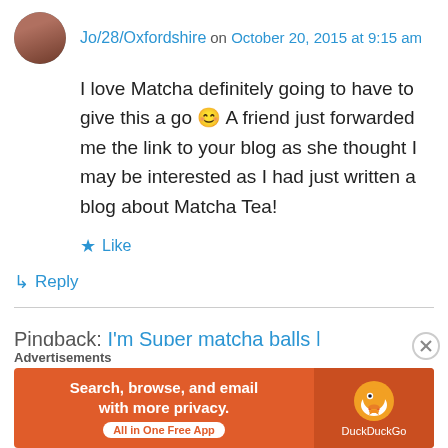Jo/28/Oxfordshire on October 20, 2015 at 9:15 am
I love Matcha definitely going to have to give this a go 😊 A friend just forwarded me the link to your blog as she thought I may be interested as I had just written a blog about Matcha Tea!
★ Like
↳ Reply
Pingback: I'm Super matcha balls |
Advertisements
[Figure (screenshot): Partial dark advertisement image bar]
Advertisements
[Figure (screenshot): DuckDuckGo advertisement: Search, browse, and email with more privacy. All in One Free App]